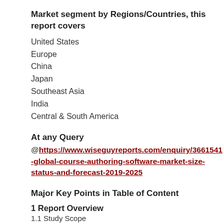Market segment by Regions/Countries, this report covers
United States
Europe
China
Japan
Southeast Asia
India
Central & South America
At any Query
@ https://www.wiseguyreports.com/enquiry/3661541-global-course-authoring-software-market-size-status-and-forecast-2019-2025
Major Key Points in Table of Content
1 Report Overview
1.1 Study Scope